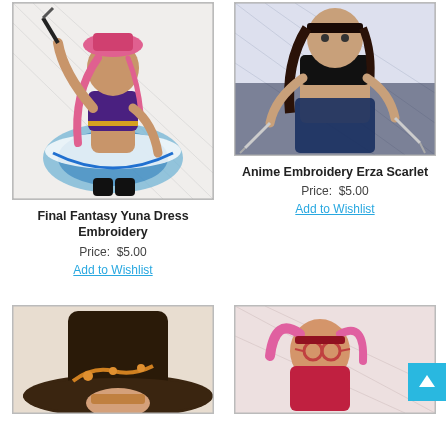[Figure (illustration): Embroidery design of Final Fantasy Yuna in a colorful dress, holding a weapon, with pink, blue, black, and gold colors]
Final Fantasy Yuna Dress Embroidery
Price:  $5.00
Add to Wishlist
[Figure (illustration): Embroidery design of Erza Scarlet from Fairy Tail anime, female character in black outfit holding swords, with blue/grey background]
Anime Embroidery Erza Scarlet
Price:  $5.00
Add to Wishlist
[Figure (illustration): Partial embroidery design showing an anime character in a large witch hat with decorative patterns, brown/orange tones]
[Figure (illustration): Partial embroidery design showing an anime character with pink and red tones, partially visible]